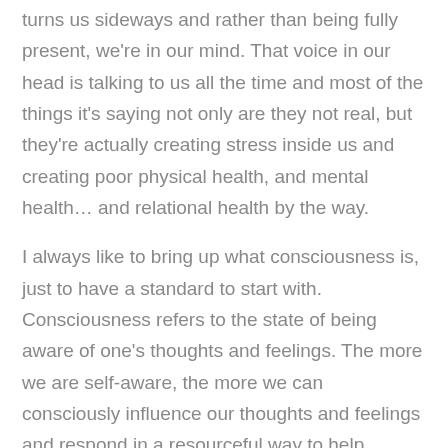turns us sideways and rather than being fully present, we're in our mind. That voice in our head is talking to us all the time and most of the things it's saying not only are they not real, but they're actually creating stress inside us and creating poor physical health, and mental health… and relational health by the way.
I always like to bring up what consciousness is, just to have a standard to start with. Consciousness refers to the state of being aware of one's thoughts and feelings. The more we are self-aware, the more we can consciously influence our thoughts and feelings and respond in a resourceful way to help others.